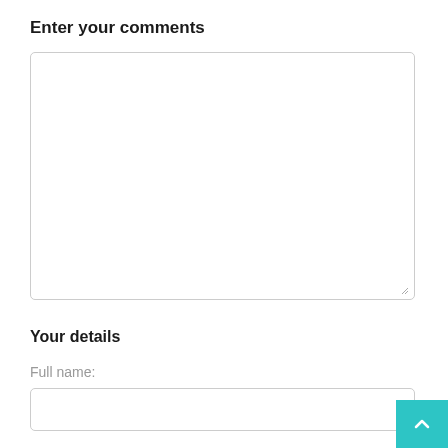Enter your comments
[Figure (screenshot): Large empty textarea input box with rounded corners and a resize handle in the bottom right corner]
Your details
Full name:
[Figure (screenshot): Single-line text input box for full name with rounded corners]
Email address: